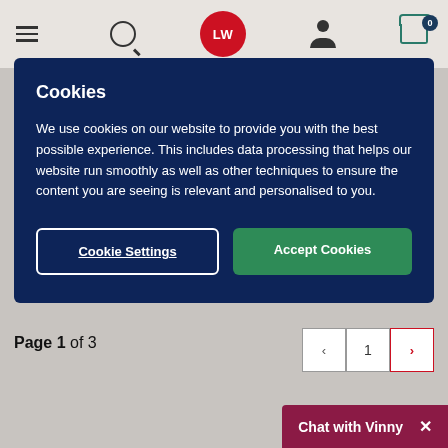[Figure (screenshot): Website header with hamburger menu, search icon, LW circular logo in red, user account icon, and shopping cart icon with badge showing 0]
Cookies
We use cookies on our website to provide you with the best possible experience. This includes data processing that helps our website run smoothly as well as other techniques to ensure the content you are seeing is relevant and personalised to you.
Cookie Settings | Accept Cookies
Page 1 of 3
Chat with Vinny